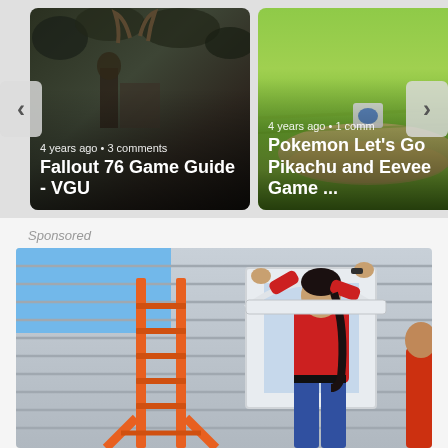[Figure (screenshot): Carousel of two game guide cards. Left card shows Fallout 76 Game Guide - VGU with dark fantasy scene, 4 years ago, 3 comments. Right card shows Pokemon Let's Go Pikachu and Eevee Game ... with green Pokemon Go game scene, 4 years ago, 1 comment. Navigation arrows on left and right.]
Sponsored
[Figure (photo): Sponsored photo showing a person in a red shirt on a ladder installing or adjusting a window frame on a house with grey/blue siding. An orange ladder is visible. Another person partially visible on right.]